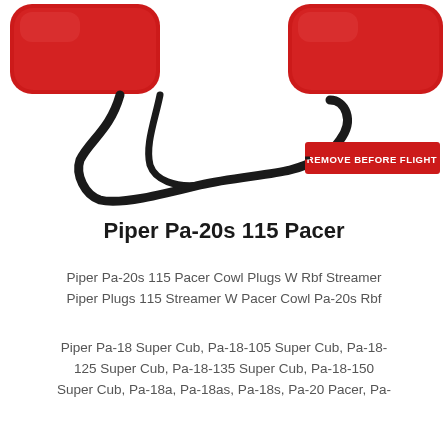[Figure (photo): Two red padded objects (pitot tube covers or exhaust covers) connected by a black cord/rope, with a red 'REMOVE BEFORE FLIGHT' tag attached to the cord. The items are on a white background.]
Piper Pa-20s 115 Pacer
Piper Pa-20s 115 Pacer Cowl Plugs W Rbf Streamer Piper Plugs 115 Streamer W Pacer Cowl Pa-20s Rbf
Piper Pa-18 Super Cub, Pa-18-105 Super Cub, Pa-18-125 Super Cub, Pa-18-135 Super Cub, Pa-18-150 Super Cub, Pa-18a, Pa-18as, Pa-18s, Pa-20 Pacer, Pa-